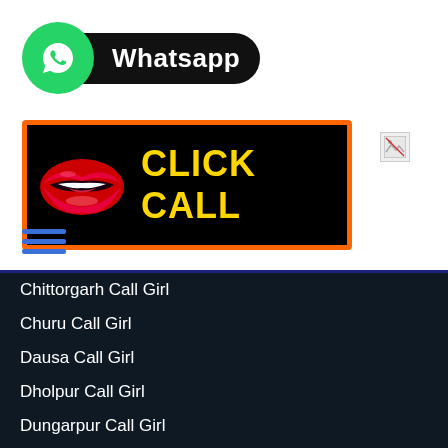[Figure (logo): WhatsApp logo badge with green circle containing phone icon and black pill-shaped label reading Whatsapp]
[Figure (illustration): Black banner with orange border showing red lips on the left and yellow bold text CLICK CALL on the right]
[Figure (other): Broken image placeholder icon]
[Figure (other): Hamburger menu icon with three blue horizontal lines]
Chittorgarh Call Girl
Churu Call Girl
Dausa Call Girl
Dholpur Call Girl
Dungarpur Call Girl
Fatehpur Call Girl